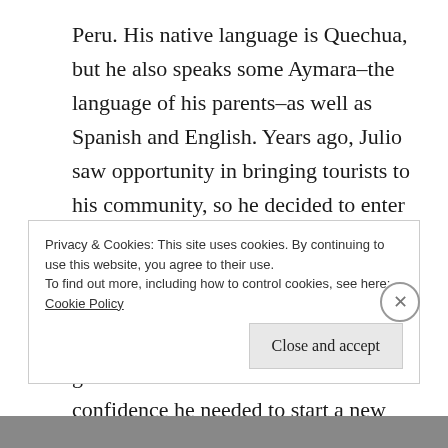Peru. His native language is Quechua, but he also speaks some Aymara–the language of his parents–as well as Spanish and English. Years ago, Julio saw opportunity in bringing tourists to his community, so he decided to enter a tourism program at the university in Puno. This decision required him to travel by boat each day from his floating island on Lake Titicaca, but it gave him the credentials and confidence he needed to start a new business for himself, his family, and his community.
Privacy & Cookies: This site uses cookies. By continuing to use this website, you agree to their use.
To find out more, including how to control cookies, see here: Cookie Policy
Close and accept